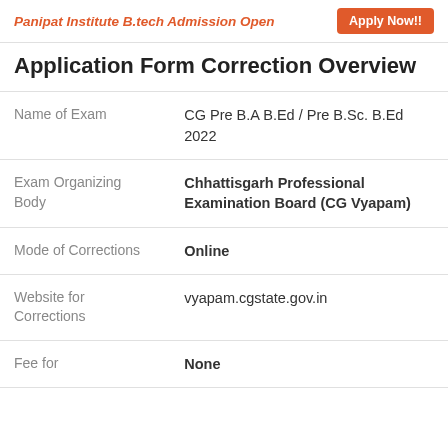Panipat Institute B.tech Admission Open  Apply Now!!
Application Form Correction Overview
|  |  |
| --- | --- |
| Name of Exam | CG Pre B.A B.Ed / Pre B.Sc. B.Ed 2022 |
| Exam Organizing Body | Chhattisgarh Professional Examination Board (CG Vyapam) |
| Mode of Corrections | Online |
| Website for Corrections | vyapam.cgstate.gov.in |
| Fee for | None |